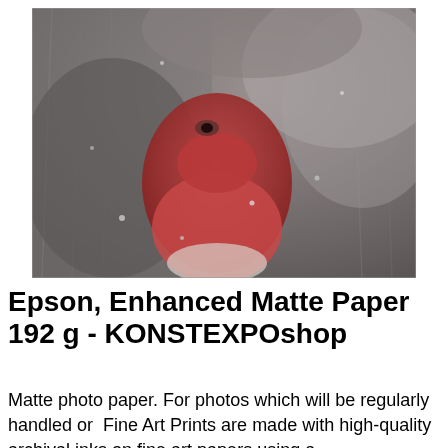[Figure (photo): Close-up photograph of a Japanese macaque (snow monkey) face with pink/red facial features and grey fur, with small water droplets visible on the fur.]
Epson, Enhanced Matte Paper 192 g - KONSTEXPOshop
Matte photo paper. For photos which will be regularly handled or  Fine Art Prints are made with high-quality archival inks on fine art papers using a